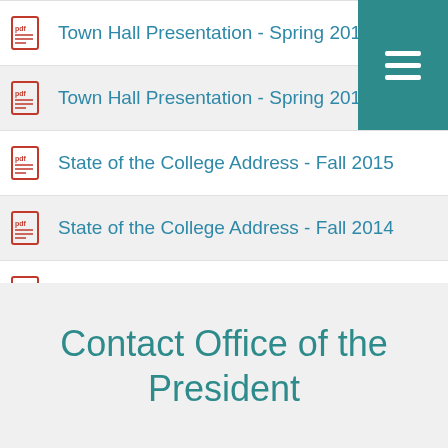Town Hall Presentation - Spring 201
Town Hall Presentation - Spring 201
State of the College Address - Fall 2015
State of the College Address - Fall 2014
State of the College Address - Fall 2013
Contact Office of the President